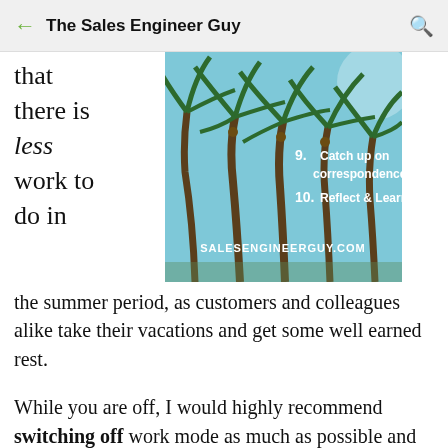The Sales Engineer Guy
that there is less work to do in
[Figure (infographic): Palm tree beach photo with numbered list items: 9. Catch up on correspondence, 10. Reflect & Learn, and SALESENGINEERGUY.COM watermark]
the summer period, as customers and colleagues alike take their vacations and get some well earned rest.
While you are off, I would highly recommend switching off work mode as much as possible and let your team cover for you.
For the time you are working, there are some